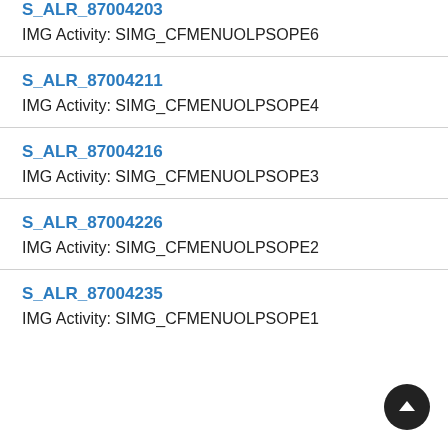S_ALR_87004203
IMG Activity: SIMG_CFMENUOLPSOPE6
S_ALR_87004211
IMG Activity: SIMG_CFMENUOLPSOPE4
S_ALR_87004216
IMG Activity: SIMG_CFMENUOLPSOPE3
S_ALR_87004226
IMG Activity: SIMG_CFMENUOLPSOPE2
S_ALR_87004235
IMG Activity: SIMG_CFMENUOLPSOPE1